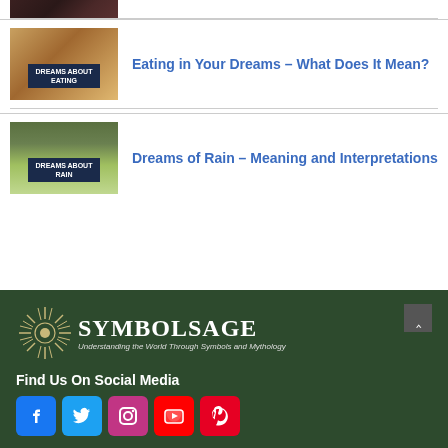[Figure (photo): Partial image strip at top — food/dining related]
[Figure (photo): Image of people eating at a table with overlay text 'DREAMS ABOUT EATING']
Eating in Your Dreams – What Does It Mean?
[Figure (photo): Image of rain with overlay text 'DREAMS ABOUT RAIN']
Dreams of Rain – Meaning and Interpretations
[Figure (logo): SymbolSage logo with sunburst graphic and tagline 'Understanding the World Through Symbols and Mythology']
Find Us On Social Media
[Figure (infographic): Social media icons: Facebook, Twitter, Instagram, YouTube, Pinterest]